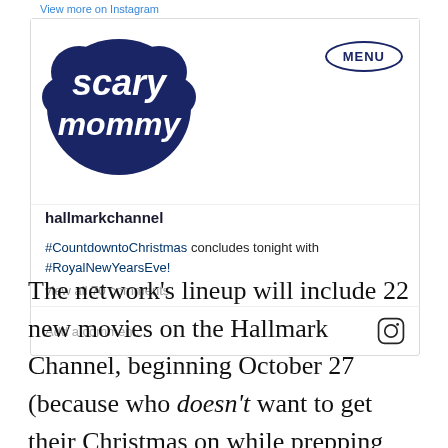View more on Instagram
[Figure (screenshot): Instagram post card from hallmarkchannel with Scary Mommy logo overlay and MENU button. Caption reads: #CountdowntoChristmas concludes tonight with #RoyalNewYearsEve! view all 70 comments. Add a comment input bar with Instagram icon.]
The network’s lineup will include 22 new movies on the Hallmark Channel, beginning October 27 (because who doesn’t want to get their Christmas on while prepping for Halloween), and 12 will premiere on Hallmark